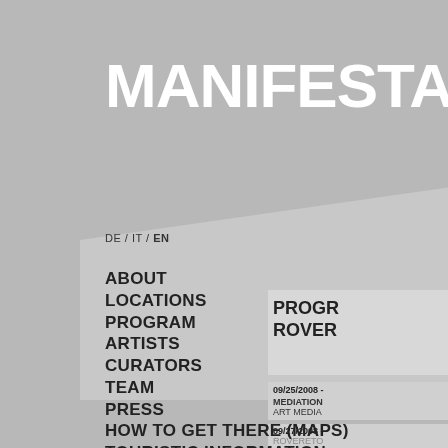MANIFESTA7
DE / IT / EN
ABOUT
LOCATIONS
PROGRAM
ARTISTS
CURATORS
TEAM
PRESS
HOW TO GET THERE (MAPS)
TOURISTIC INFORMATION
ART MEDIATION
PARALLEL EVENTS
BOLZANO/BOZEN
TRENTO - PARALLEL EVENTS
PROGR
ROVER
09/25/2008 -
MEDIATION
ART MEDIA
09/27/2008 -
ROVERETO
FORTEZZA